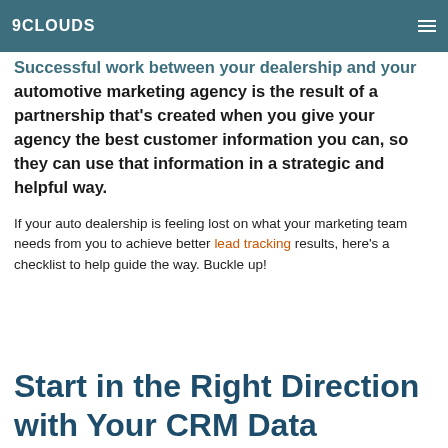9CLOUDS
Successful work between your dealership and your automotive marketing agency is the result of a partnership that’s created when you give your agency the best customer information you can, so they can use that information in a strategic and helpful way.
If your auto dealership is feeling lost on what your marketing team needs from you to achieve better lead tracking results, here’s a checklist to help guide the way. Buckle up!
Start in the Right Direction with Your CRM Data